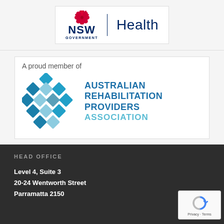[Figure (logo): NSW Government Health logo with red waratah flower emblem, NSW Government text, vertical divider, and Health text in navy blue]
[Figure (logo): Australian Rehabilitation Providers Association logo with 'A proud member of' text, diamond pattern in blues, and AUSTRALIAN REHABILITATION PROVIDERS ASSOCIATION text]
HEAD OFFICE
Level 4, Suite 3
20-24 Wentworth Street
Parramatta 2150